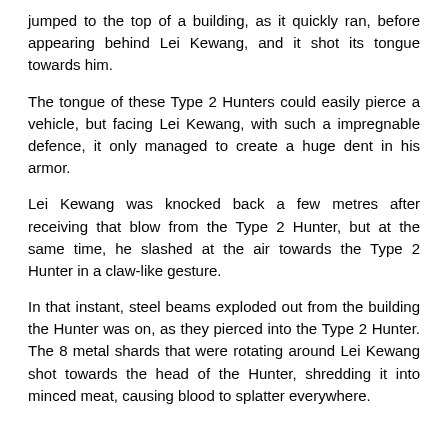jumped to the top of a building, as it quickly ran, before appearing behind Lei Kewang, and it shot its tongue towards him.
The tongue of these Type 2 Hunters could easily pierce a vehicle, but facing Lei Kewang, with such a impregnable defence, it only managed to create a huge dent in his armor.
Lei Kewang was knocked back a few metres after receiving that blow from the Type 2 Hunter, but at the same time, he slashed at the air towards the Type 2 Hunter in a claw-like gesture.
In that instant, steel beams exploded out from the building the Hunter was on, as they pierced into the Type 2 Hunter. The 8 metal shards that were rotating around Lei Kewang shot towards the head of the Hunter, shredding it into minced meat, causing blood to splatter everywhere.